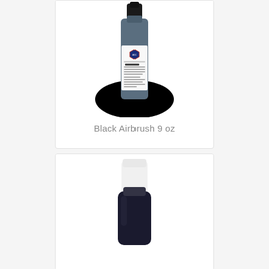[Figure (photo): AmeriColor Black Airbrush 9 oz bottle with black cap, sitting on a black spilled liquid surface, with white label showing brand logo and product name Super Black]
Black Airbrush 9 oz
[Figure (photo): Small dark-colored bottle with white cap, likely a smaller black food coloring or airbrush product]